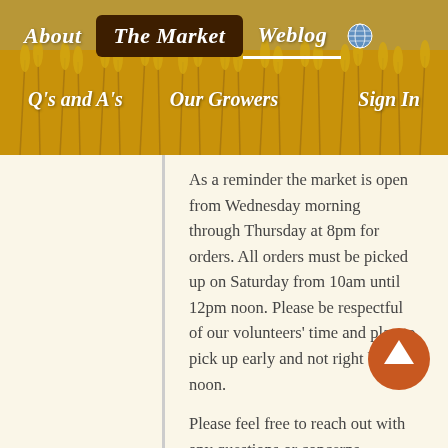[Figure (screenshot): Wheat field background header image with golden wheat stalks]
About   The Market   Weblog   Q's and A's   Our Growers   Sign In
As a reminder the market is open from Wednesday morning through Thursday at 8pm for orders. All orders must be picked up on Saturday from 10am until 12pm noon. Please be respectful of our volunteers' time and plan to pick up early and not right before noon.
Please feel free to reach out with any questions or concerns.
Thanks,